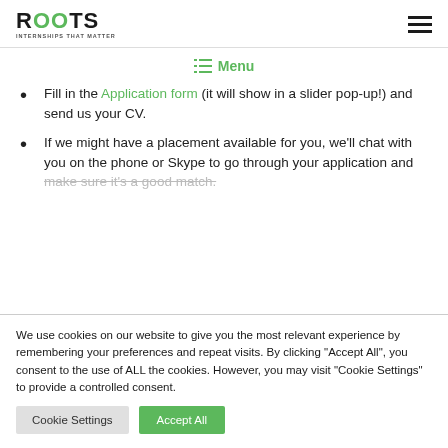ROOTS INTERNSHIPS THAT MATTER
Menu
Fill in the Application form (it will show in a slider pop-up!) and send us your CV.
If we might have a placement available for you, we'll chat with you on the phone or Skype to go through your application and make sure it's a good match.
We use cookies on our website to give you the most relevant experience by remembering your preferences and repeat visits. By clicking "Accept All", you consent to the use of ALL the cookies. However, you may visit "Cookie Settings" to provide a controlled consent.